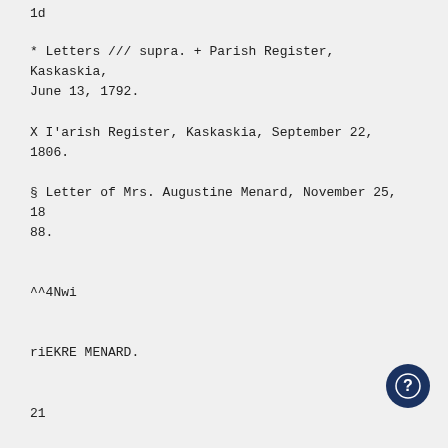1d
* Letters /// supra. + Parish Register, Kaskaskia, June 13, 1792.
X I'arish Register, Kaskaskia, September 22, 1806.
§ Letter of Mrs. Augustine Menard, November 25, 1888.
^^4Nwi
riEKRE MENARD.
21
many positions of trust and honor, among which wer